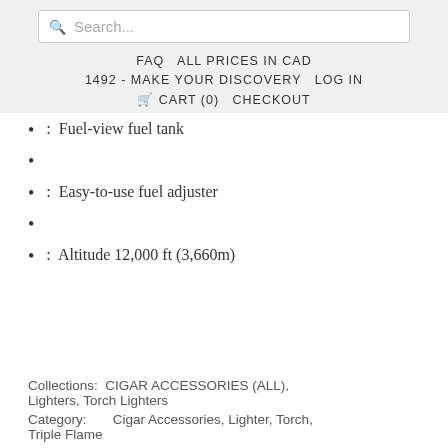Search... FAQ  ALL PRICES IN CAD  1492 - MAKE YOUR DISCOVERY  LOG IN  CART (0)  CHECKOUT
: Fuel-view fuel tank
: Easy-to-use fuel adjuster
: Altitude 12,000 ft (3,660m)
Collections:  CIGAR ACCESSORIES (ALL), Lighters, Torch Lighters
Category:       Cigar Accessories, Lighter, Torch, Triple Flame